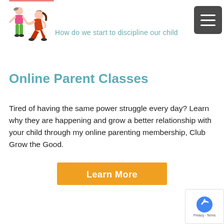How do we start to discipline our child
[Figure (illustration): Illustration of an adult crouching down to interact with a child]
Online Parent Classes
Tired of having the same power struggle every day? Learn why they are happening and grow a better relationship with your child through my online parenting membership, Club Grow the Good.
Learn More